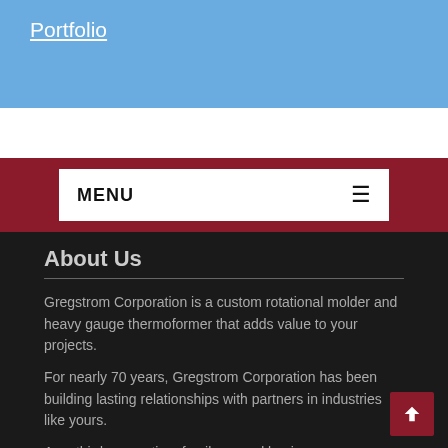Portfolio
MENU
About Us
Gregstrom Corporation is a custom rotational molder and heavy gauge thermoformer that adds value to your projects.
For nearly 70 years, Gregstrom Corporation has been building lasting relationships with partners in industries like yours.
As a third-generation, family-owned business, our American-owned company